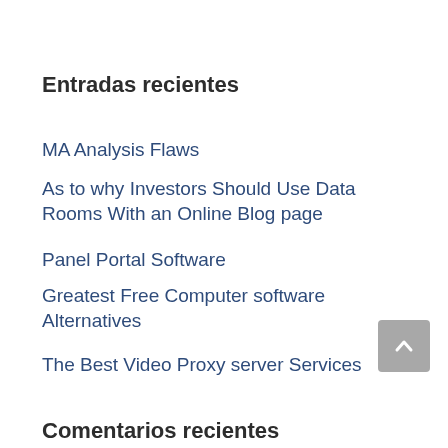Entradas recientes
MA Analysis Flaws
As to why Investors Should Use Data Rooms With an Online Blog page
Panel Portal Software
Greatest Free Computer software Alternatives
The Best Video Proxy server Services
Comentarios recientes